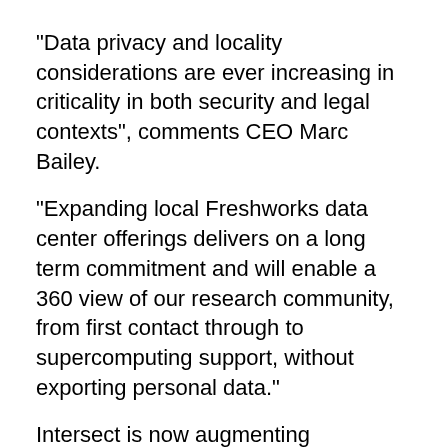"Data privacy and locality considerations are ever increasing in criticality in both security and legal contexts", comments CEO Marc Bailey.
"Expanding local Freshworks data center offerings delivers on a long term commitment and will enable a 360 view of our research community, from first contact through to supercomputing support, without exporting personal data."
Intersect is now augmenting Freshservice with Freshsales to enhance personal empathy, attentiveness and service for its customer base of thousands of researchers across Australia and New Zealand.
Freshworks Australia GM Sreelesh Pillai says, "Being hosted on Amazon Web Services, recognised with Protected certification status from the Australian Cyber Security Centre, has allowed us to secure